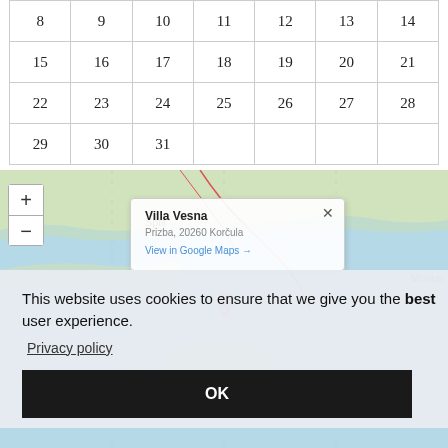| 8 | 9 | 10 | 11 | 12 | 13 | 14 |
| 15 | 16 | 17 | 18 | 19 | 20 | 21 |
| 22 | 23 | 24 | 25 | 26 | 27 | 28 |
| 29 | 30 | 31 |  |  |  |  |
[Figure (map): Interactive map showing the Dalmatian coast region of Croatia. Includes Split label, Mostar label, zoom controls (+/-), and a popup for Villa Vesna at Prizba, 20260 Korčula with a View in Google Maps link.]
This website uses cookies to ensure that we give you the best user experience. Privacy policy OK